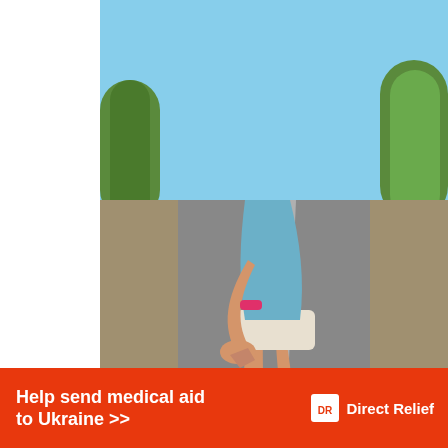[Figure (photo): A person (runner) bending over holding their knee on a road, wearing blue athletic shoes and a pink wristband. Background shows blue sky and trees along a road.]
65
SHARES
[Figure (illustration): Facebook share button (blue button with 'f' icon)]
We use cookies on our website to give you the most relevant experience by remembering your preferences and repeat visits. By clicking “Accept”, you consent to the use of ALL the cookies.
Do not sell my personal information.
No compatible source was found for this media.
[Figure (illustration): Help send medical aid to Ukraine >> Direct Relief advertisement banner (orange/red background)]